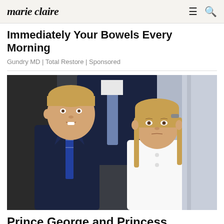marie claire
Immediately Your Bowels Every Morning
Gundry MD | Total Restore | Sponsored
[Figure (photo): Photo of Prince George in a navy suit with blue striped tie and Princess Charlotte in a white coat, standing in front of an adult in a navy suit, likely at a public royal event.]
Prince George and Princess Charlotte will